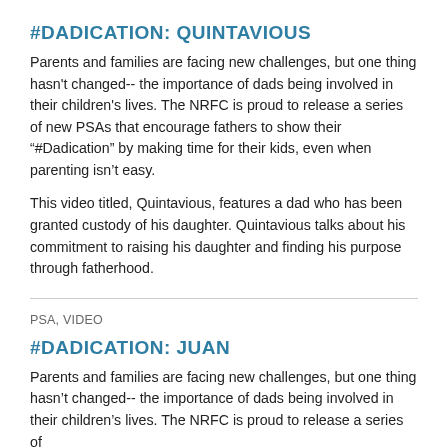#DADICATION: QUINTAVIOUS
Parents and families are facing new challenges, but one thing hasn't changed-- the importance of dads being involved in their children's lives. The NRFC is proud to release a series of new PSAs that encourage fathers to show their “#Dadication” by making time for their kids, even when parenting isn’t easy.
This video titled, Quintavious, features a dad who has been granted custody of his daughter. Quintavious talks about his commitment to raising his daughter and finding his purpose through fatherhood.
PSA, VIDEO
#DADICATION: JUAN
Parents and families are facing new challenges, but one thing hasn’t changed-- the importance of dads being involved in their children’s lives. The NRFC is proud to release a series of